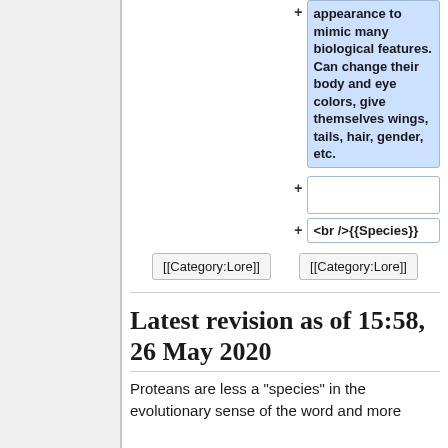appearance to mimic many biological features. Can change their body and eye colors, give themselves wings, tails, hair, gender, etc.
+ (empty cell)
+ <br />{{Species}}
[[Category:Lore]]   [[Category:Lore]]
Latest revision as of 15:58, 26 May 2020
Proteans are less a "species" in the evolutionary sense of the word and more